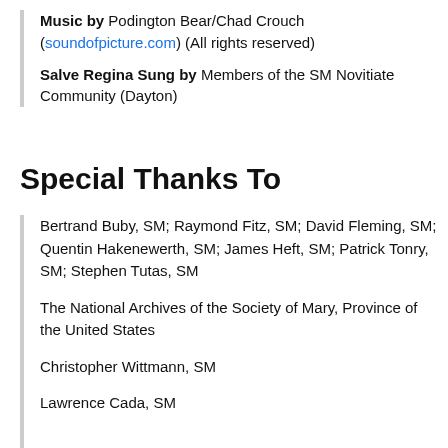Music by Podington Bear/Chad Crouch (soundofpicture.com) (All rights reserved)
Salve Regina Sung by Members of the SM Novitiate Community (Dayton)
Special Thanks To
Bertrand Buby, SM; Raymond Fitz, SM; David Fleming, SM; Quentin Hakenewerth, SM; James Heft, SM; Patrick Tonry, SM; Stephen Tutas, SM
The National Archives of the Society of Mary, Province of the United States
Christopher Wittmann, SM
Lawrence Cada, SM